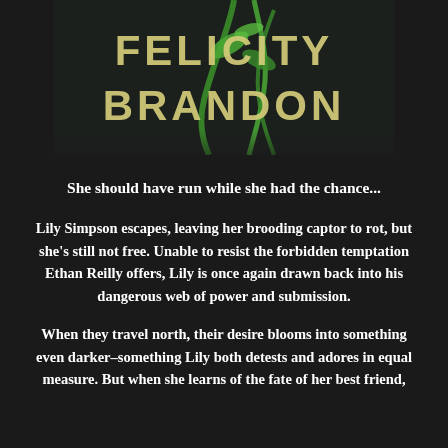[Figure (illustration): Book cover image showing the name FELICITY BRANDON in large gold text over a dark background with green plant elements]
She should have run while she had the chance...
Lily Simpson escapes, leaving her brooding captor to rot, but she’s still not free. Unable to resist the forbidden temptation Ethan Reilly offers, Lily is once again drawn back into his dangerous web of power and submission.
When they travel north, their desire blooms into something even darker–something Lily both detests and adores in equal measure. But when she learns of the fate of her best friend,